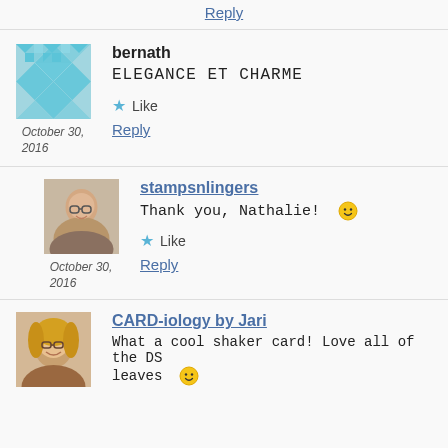Reply
bernath
ELEGANCE ET CHARME
Like
Reply
October 30, 2016
stampsnlingers
Thank you, Nathalie! 🙂
Like
Reply
October 30, 2016
CARD-iology by Jari
What a cool shaker card! Love all of the DS leaves 🙂